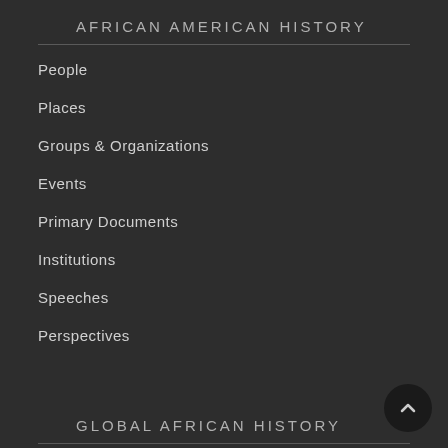AFRICAN AMERICAN HISTORY
People
Places
Groups & Organizations
Events
Primary Documents
Institutions
Speeches
Perspectives
GLOBAL AFRICAN HISTORY